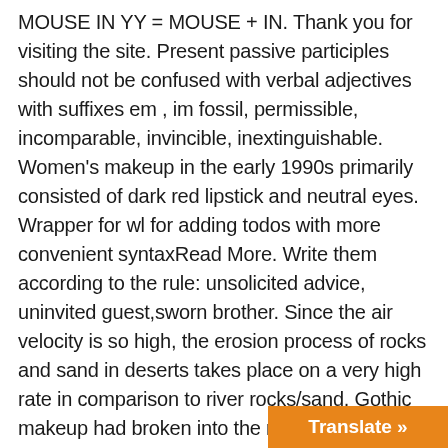MOUSE IN YY = MOUSE + IN. Thank you for visiting the site. Present passive participles should not be confused with verbal adjectives with suffixes em , im fossil, permissible, incomparable, invincible, inextinguishable. Women's makeup in the early 1990s primarily consisted of dark red lipstick and neutral eyes. Wrapper for wl for adding todos with more convenient syntaxRead More. Write them according to the rule: unsolicited advice, uninvited guest,sworn brother. Since the air velocity is so high, the erosion process of rocks and sand in deserts takes place on a very high rate in comparison to river rocks/sand. Gothic makeup had broken into the mainstream, having been made up of vamp lipstick or even black lipstick, heavy mascara and eyeliner, often purple tinted eye shadow or else very dark blue, and extremely pale foundation. If you've seen Chef Curry play basketball over the past five years, you're likely betting on the OVER. T $100,000 will apply for all competition/m
Translate »